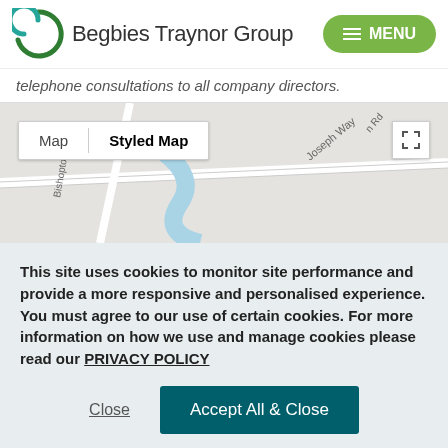[Figure (logo): Begbies Traynor Group logo with green spiral icon and company name]
telephone consultations to all company directors.
[Figure (map): Google Maps view showing street map with tabs 'Map' and 'Styled Map', street labels including Bishopto, Joseph Way, and Tesco Sup label visible]
This site uses cookies to monitor site performance and provide a more responsive and personalised experience. You must agree to our use of certain cookies. For more information on how we use and manage cookies please read our PRIVACY POLICY
Close
Accept All & Close